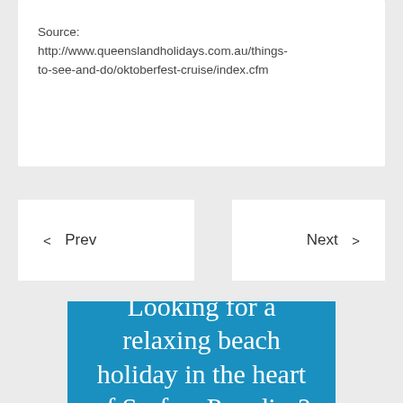Source:
http://www.queenslandholidays.com.au/things-to-see-and-do/oktoberfest-cruise/index.cfm
< Prev
Next >
[Figure (illustration): Blue banner with white serif text reading 'Looking for a relaxing beach holiday in the heart of Surfers Paradise?']